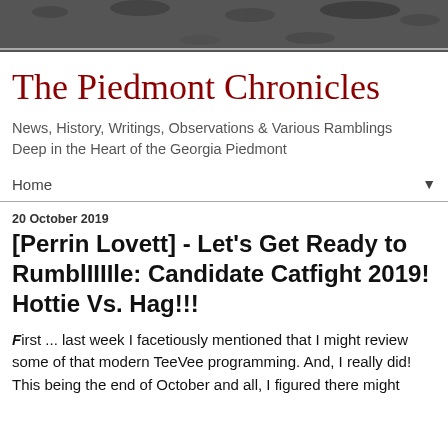[Figure (photo): Distressed grainy texture banner at top of page, dark speckled pattern on grey background]
The Piedmont Chronicles
News, History, Writings, Observations & Various Ramblings Deep in the Heart of the Georgia Piedmont
Home ▼
20 October 2019
[Perrin Lovett] - Let's Get Ready to RumblIIIIle: Candidate Catfight 2019! Hottie Vs. Hag!!!
First ... last week I facetiously mentioned that I might review some of that modern TeeVee programming. And, I really did! This being the end of October and all, I figured there might